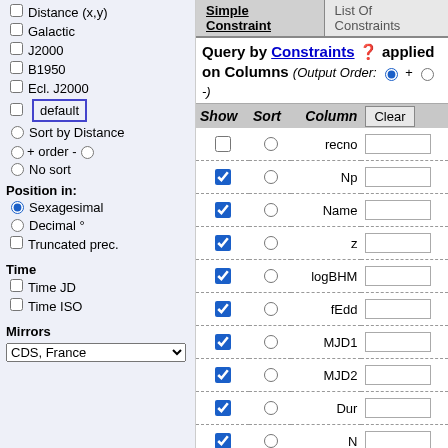Distance (x,y)
Galactic
J2000
B1950
Ecl. J2000
default
Sort by Distance
+ order -
No sort
Position in:
Sexagesimal
Decimal °
Truncated prec.
Time
Time JD
Time ISO
Mirrors
CDS, France
Query by Constraints applied on Columns (Output Order: + -)
| Show | Sort | Column |  |
| --- | --- | --- | --- |
| ☐ | ○ | recno |  |
| ☑ | ○ | Np |  |
| ☑ | ○ | Name |  |
| ☑ | ○ | z |  |
| ☑ | ○ | logBHM |  |
| ☑ | ○ | fEdd |  |
| ☑ | ○ | MJD1 |  |
| ☑ | ○ | MJD2 |  |
| ☑ | ○ | Dur |  |
| ☑ | ○ | N |  |